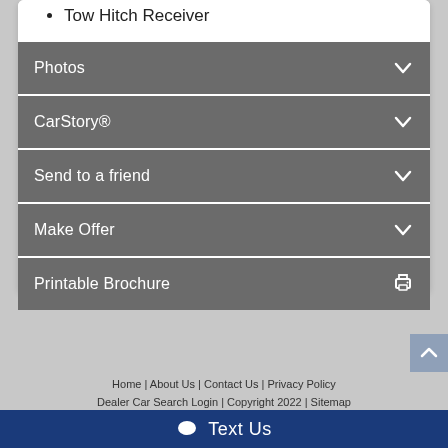Tow Hitch Receiver
Photos
CarStory®
Send to a friend
Make Offer
Printable Brochure
Home | About Us | Contact Us | Privacy Policy | Dealer Car Search Login | Copyright 2022 | Sitemap
Text Us